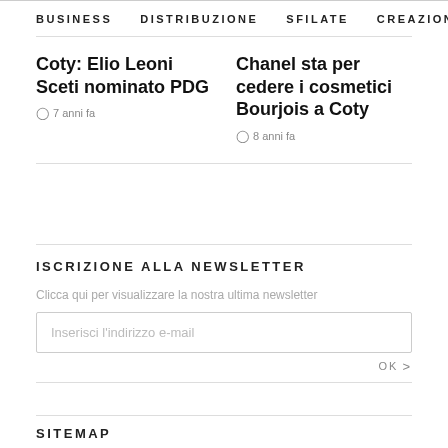BUSINESS  DISTRIBUZIONE  SFILATE  CREAZION  >
Coty: Elio Leoni Sceti nominato PDG
7 anni fa
Chanel sta per cedere i cosmetici Bourjois a Coty
8 anni fa
ISCRIZIONE ALLA NEWSLETTER
Clicca qui per visualizzare la nostra ultima newsletter
Inserisci l'indirizzo e-mail
OK >
SITEMAP